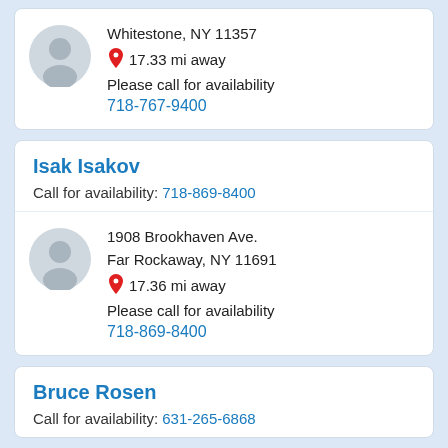Whitestone, NY 11357
17.33 mi away
Please call for availability
718-767-9400
Isak Isakov
Call for availability: 718-869-8400
1908 Brookhaven Ave.
Far Rockaway, NY 11691
17.36 mi away
Please call for availability
718-869-8400
Bruce Rosen
Call for availability: 631-265-6868